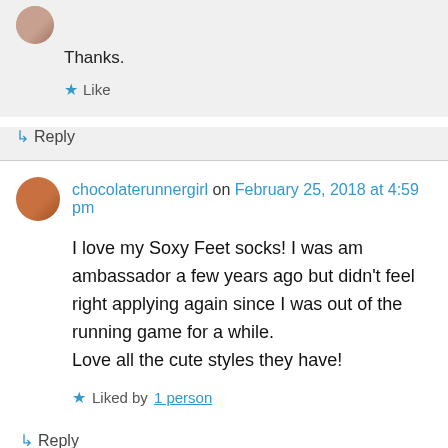Thanks.
★ Like
↳ Reply
chocolaterunnergirl on February 25, 2018 at 4:59 pm
I love my Soxy Feet socks! I was am ambassador a few years ago but didn't feel right applying again since I was out of the running game for a while.
Love all the cute styles they have!
★ Liked by 1 person
↳ Reply